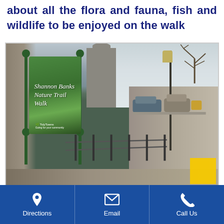about all the flora and fauna, fish and wildlife to be enjoyed on the walk
[Figure (photo): A green sign for 'Shannon Banks Nature Trail Walk' mounted on green metal poles with decorative ball finials, set against a backdrop of stone walls and a church tower. TidyTowns logo visible at bottom of sign. A lamp post, railings, paved area, and parked cars visible in background. A yellow square is visible in the bottom-right corner of the photo.]
Directions   Email   Call Us